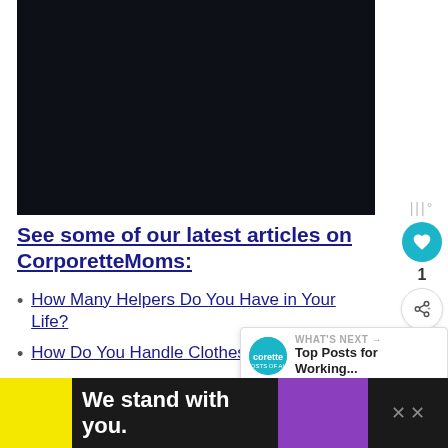[Figure (photo): Dark navy/black hero image area at the top of the page]
See some of our latest articles on CorporetteMoms:
How Many Helpers Do You Have in Life?
How Do You Handle Clothes Your Kids Have
We stand with you.